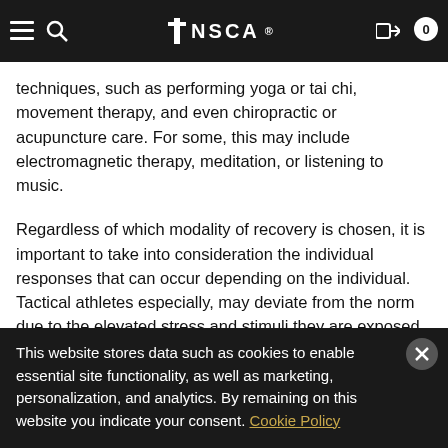techniques, such as performing yoga or tai chi, movement therapy, and even chiropractic or acupuncture care. For some, this may include electromagnetic therapy, meditation, or listening to music.
Regardless of which modality of recovery is chosen, it is important to take into consideration the individual responses that can occur depending on the individual. Tactical athletes especially, may deviate from the norm due to the elevated stress and stimuli they are exposed to daily. It should be remembered that, just because one method of recovery may work for some, it does not mean that it would have the same effect on others.
This website stores data such as cookies to enable essential site functionality, as well as marketing, personalization, and analytics. By remaining on this website you indicate your consent. Cookie Policy